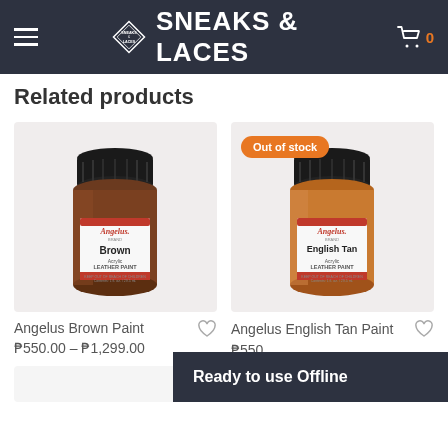SNEAKS & LACES
Related products
[Figure (photo): Angelus Brown Acrylic Leather Paint jar, brown glass bottle with black cap and white label]
Angelus Brown Paint
₱550.00 – ₱1,299.00
[Figure (photo): Angelus English Tan Acrylic Leather Paint jar, amber glass bottle with black cap, Out of stock badge]
Angelus English Tan Paint
₱550.
Ready to use Offline